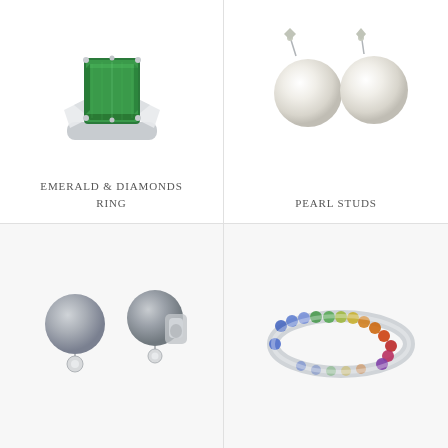[Figure (photo): Emerald and diamonds ring with large rectangular green emerald center stone flanked by princess-cut diamonds on white gold band]
EMERALD & DIAMONDS
RING
[Figure (photo): Pearl studs earrings - two white/cream pearl stud earrings on white background]
PEARL STUDS
[Figure (photo): Gray pearl earrings with diamond accents - two gray/tahitian pearl earrings with small diamond bezels, shown from front and back]
[Figure (photo): Rainbow sapphire eternity band ring with multicolored stones going from blue to green to yellow to orange to red in a full circle]